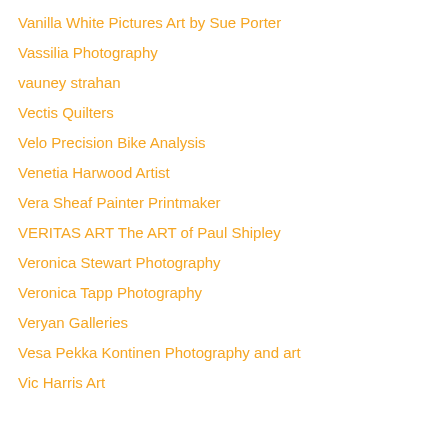Vanilla White Pictures Art by Sue Porter
Vassilia Photography
vauney strahan
Vectis Quilters
Velo Precision Bike Analysis
Venetia Harwood Artist
Vera Sheaf Painter Printmaker
VERITAS ART The ART of Paul Shipley
Veronica Stewart Photography
Veronica Tapp Photography
Veryan Galleries
Vesa Pekka Kontinen Photography and art
Vic Harris Art